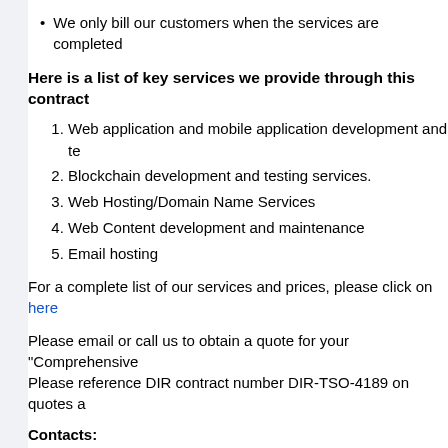We only bill our customers when the services are completed
Here is a list of key services we provide through this contract
1. Web application and mobile application development and te
2. Blockchain development and testing services.
3. Web Hosting/Domain Name Services
4. Web Content development and maintenance
5. Email hosting
For a complete list of our services and prices, please click on here
Please email or call us to obtain a quote for your "Comprehensive. Please reference DIR contract number DIR-TSO-4189 on quotes a
Contacts:
Katherine Chen
Email: Katherine.Chen@savvytech.us
Phone No.: 512-554-7261
Fax No.: 512-469-3711
Company Address: 100 Congress AVE STE 2000, Austin TX 7870